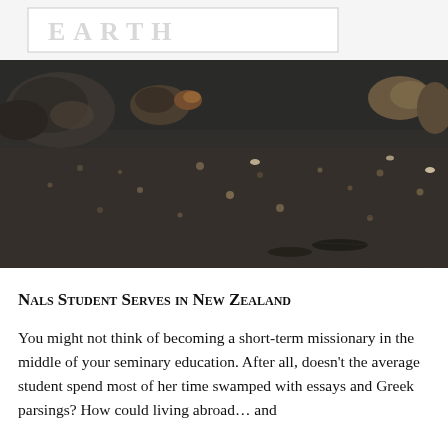EARTH
[Figure (photo): Photograph of a dark volcanic or rocky beach with black sand, scattered rocks and pebbles, viewed from an elevated angle. Large boulders visible in the upper portion.]
NALS Student Serves in New Zealand
You might not think of becoming a short-term missionary in the middle of your seminary education. After all, doesn't the average student spend most of her time swamped with essays and Greek parsings? How could living abroad … and